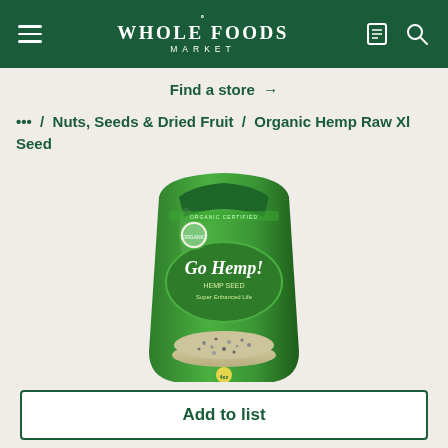Whole Foods Market
Find a store →
… / Nuts, Seeds & Dried Fruit / Organic Hemp Raw Xl Seed
[Figure (photo): Green bag of Go Hemp! Organic Hemp Raw XL Seeds product, showing hemp seeds spilling out at the bottom of the bag.]
Add to list